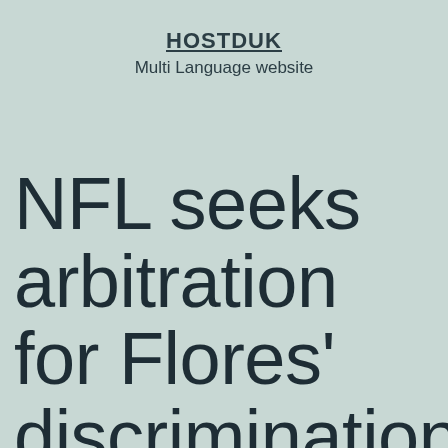HOSTDUK
Multi Language website
NFL seeks arbitration for Flores' discrimination